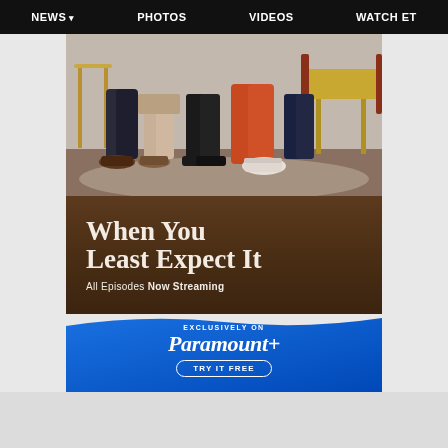NEWS  PHOTOS  VIDEOS  WATCH ET
[Figure (photo): Promotional advertisement for 'When You Least Expect It' on Paramount+. Top portion shows seated people from waist down on furniture. Middle section has show title text on brown background. Bottom section is blue with Paramount+ logo and 'TRY IT FREE' button.]